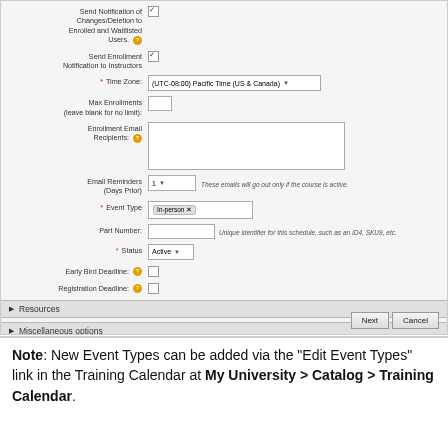[Figure (screenshot): Web form screenshot showing course scheduling fields: Send Notification of Changes/Deletion (checked), Send Enrollment Notification to Instructors (checked), Time Zone dropdown (UTC-08:00 Pacific Time US & Canada), Max Enrollments text input, Enrollment Email Recipients textarea, Email Reminders Days Prior dropdown (1) with hint text, Event Type tag input (In-person), Part Number text input with hint, Status dropdown (Active), Early Bird Deadline checkbox, Registration Deadline checkbox, Resources collapsible section, Miscellaneous options collapsible section, Next and Cancel buttons.]
Note: New Event Types can be added via the "Edit Event Types" link in the Training Calendar at My University > Catalog > Training Calendar.